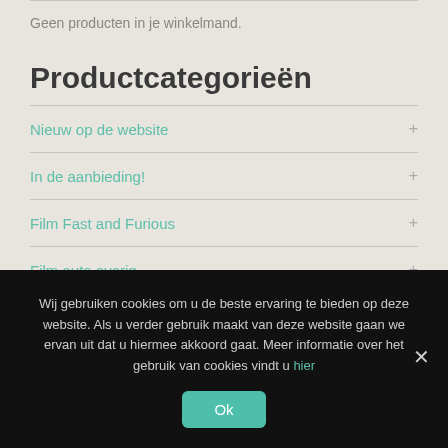Geen producten in je winkelmand.
Productcategorieën
Nieuw op de website
In de aanbieding!
Film Fast and Furious
Film auto overig
modelbouw, trailers & velgen
Wij gebruiken cookies om u de beste ervaring te bieden op deze website. Als u verder gebruik maakt van deze website gaan we ervan uit dat u hiermee akkoord gaat. Meer informatie over het gebruik van cookies vindt u hier